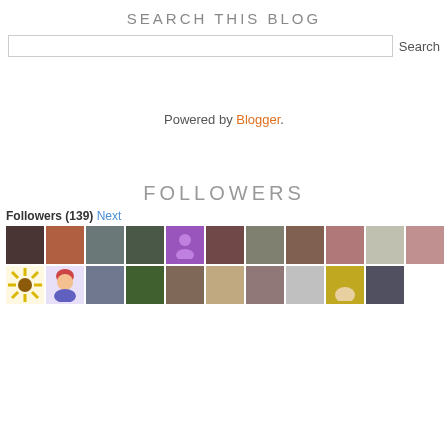SEARCH THIS BLOG
Search
Powered by Blogger.
FOLLOWERS
Followers (139) Next
[Figure (photo): Grid of follower avatar photos, two rows of approximately 11 and 10 avatars respectively showing profile pictures of blog followers.]